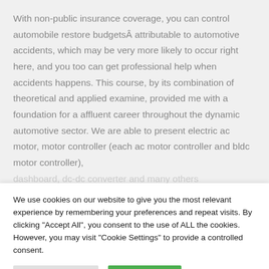With non-public insurance coverage, you can control automobile restore budgetsÂ attributable to automotive accidents, which may be very more likely to occur right here, and you too can get professional help when accidents happens. This course, by its combination of theoretical and applied examine, provided me with a foundation for a affluent career throughout the dynamic automotive sector. We are able to present electric ac motor, motor controller (each ac motor controller and bldc motor controller), dashboard, dc-dc converter and many others
We use cookies on our website to give you the most relevant experience by remembering your preferences and repeat visits. By clicking "Accept All", you consent to the use of ALL the cookies. However, you may visit "Cookie Settings" to provide a controlled consent.